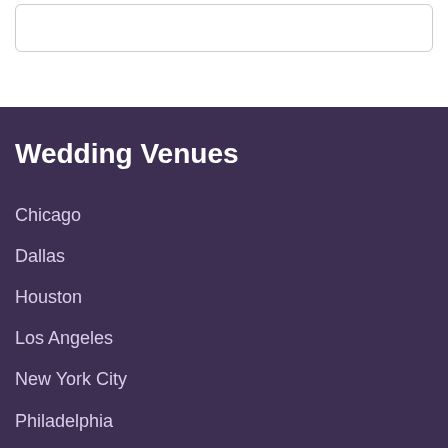Wedding Venues
Chicago
Dallas
Houston
Los Angeles
New York City
Philadelphia